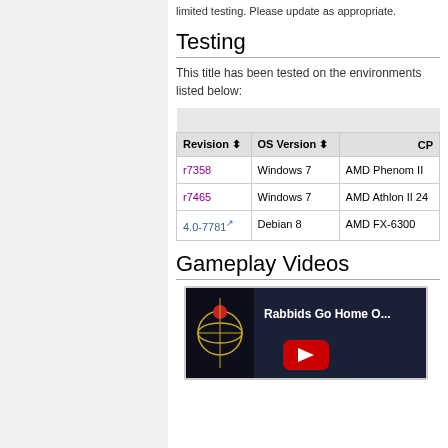limited testing. Please update as appropriate.
Testing
This title has been tested on the environments listed below:
| Revision | OS Version | CP |
| --- | --- | --- |
| r7358 | Windows 7 | AMD Phenom II |
| r7465 | Windows 7 | AMD Athlon II 24 |
| 4.0-7781 | Debian 8 | AMD FX-6300 |
Gameplay Videos
[Figure (screenshot): YouTube video thumbnail for 'Rabbids Go Home O...' showing the game logo and a YouTube play button]